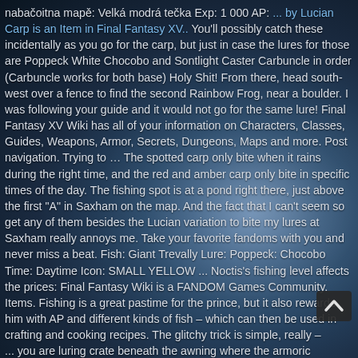nabačoitna mapě: Velká modrá tečka Exp: 1 000 AP: ... by Lucian Carp is an Item in Final Fantasy XV.. You'll possibly catch these incidentally as you go for the carp, but just in case the lures for those are Poppeck White Chocobo and Sontlight Caster Carbuncle in order (Carbuncle works for both base) Holy Shit! From there, head south-west over a fence to find the second Rainbow Frog, near a boulder. I was following your guide and it would not go for the same lure! Final Fantasy XV Wiki has all of your information on Characters, Classes, Guides, Weapons, Armor, Secrets, Dungeons, Maps and more. Post navigation. Trying to … The spotted carp only bite when it rains during the right time, and the red and amber carp only bite in specific times of the day. The fishing spot is at a pond right there, just above the first "A" in Saxham on the map. And the fact that I can't seem so get any of them besides the Lucian variation to bite my lures at Saxham really annoys me. Take your favorite fandoms with you and never miss a beat. Fish: Giant Trevally Lure: Poppeck: Chocobo Time: Daytime Icon: SMALL YELLOW ... Noctis's fishing level affects the prices: Final Fantasy Wiki is a FANDOM Games Community. Items. Fishing is a great pastime for the prince, but it also rewards him with AP and different kinds of fish – which can then be used in crafting and cooking recipes. The glitchy trick is simple, really – ... you are luring crate beneath the awning where the armoric...
[Figure (other): Scroll-to-top button (dark rounded rectangle with upward chevron arrow)]